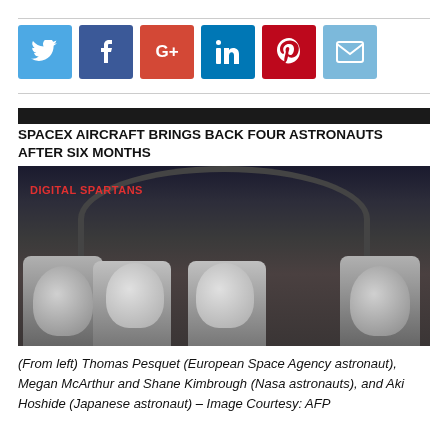[Figure (other): Social media share buttons: Twitter (blue), Facebook (dark blue), Google+ (red), LinkedIn (blue), Pinterest (red), Email (light blue)]
SPACEX AIRCRAFT BRINGS BACK FOUR ASTRONAUTS AFTER SIX MONTHS
[Figure (photo): Four astronauts in white SpaceX spacesuits seated inside a capsule, making gestures. Watermark reads DIGITAL SPARTANS in red.]
(From left) Thomas Pesquet (European Space Agency astronaut), Megan McArthur and Shane Kimbrough (Nasa astronauts), and Aki Hoshide (Japanese astronaut) – Image Courtesy: AFP